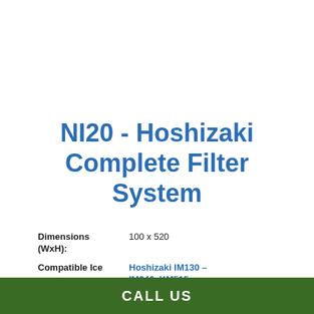NI20 - Hoshizaki Complete Filter System
| Property | Value |
| --- | --- |
| Dimensions (WxH): | 100 x 520 |
| Compatible Ice | Hoshizaki IM130 – IM240, KM515 |
CALL US